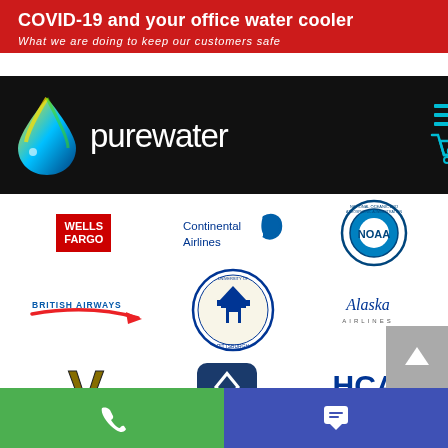[Figure (screenshot): Website screenshot for Purewater company showing COVID-19 banner, navigation with logo, and client logos including Wells Fargo, Continental Airlines, NOAA, British Airways, University of Pittsburgh, Alaska Airlines, Vanderbilt, Alcoa, HCA, Walmart, Westin, and a lion logo]
COVID-19 and your office water cooler
What we are doing to keep our customers safe
[Figure (logo): Purewater company logo with water drop graphic and purewater text]
[Figure (logo): Wells Fargo logo]
[Figure (logo): Continental Airlines logo]
[Figure (logo): NOAA logo]
[Figure (logo): British Airways logo]
[Figure (logo): University of Pittsburgh logo]
[Figure (logo): Alaska Airlines logo]
[Figure (logo): Vanderbilt logo]
[Figure (logo): Alcoa logo]
[Figure (logo): HCA Hospital Corporation of America logo]
[Figure (logo): Walmart logo]
[Figure (logo): Westin Hotels and Resorts logo]
[Figure (logo): Lion head logo in red/maroon]